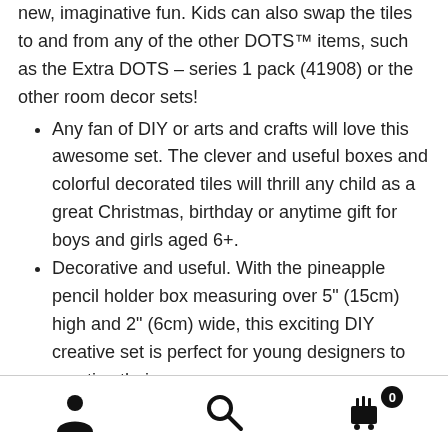new, imaginative fun. Kids can also swap the tiles to and from any of the other DOTS™ items, such as the Extra DOTS – series 1 pack (41908) or the other room decor sets!
Any fan of DIY or arts and crafts will love this awesome set. The clever and useful boxes and colorful decorated tiles will thrill any child as a great Christmas, birthday or anytime gift for boys and girls aged 6+.
Decorative and useful. With the pineapple pencil holder box measuring over 5" (15cm) high and 2" (6cm) wide, this exciting DIY creative set is perfect for young designers to practice their
[Figure (infographic): Bottom navigation bar with three icons: user/account icon on the left, search icon in the center, and shopping cart icon with badge showing 0 on the right.]